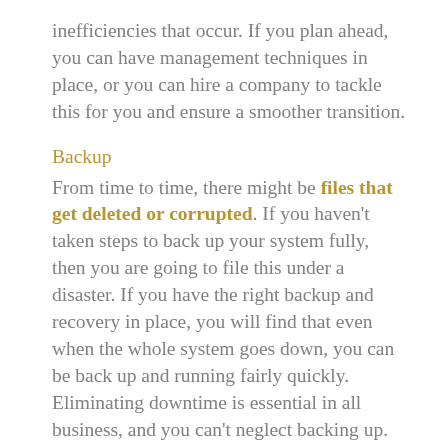inefficiencies that occur. If you plan ahead, you can have management techniques in place, or you can hire a company to tackle this for you and ensure a smoother transition.
Backup
From time to time, there might be files that get deleted or corrupted. If you haven’t taken steps to back up your system fully, then you are going to file this under a disaster. If you have the right backup and recovery in place, you will find that even when the whole system goes down, you can be back up and running fairly quickly. Eliminating downtime is essential in all business, and you can’t neglect backing up.